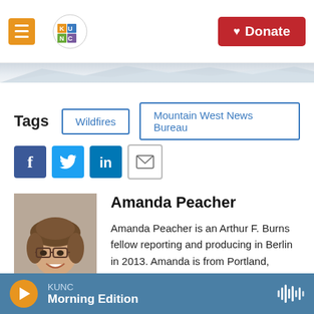[Figure (screenshot): KUNC radio station website header with hamburger menu button, KUNC logo, and red Donate button]
[Figure (photo): Mountain range background image below header]
Tags   Wildfires   Mountain West News Bureau
[Figure (infographic): Social sharing icons: Facebook, Twitter, LinkedIn, Email]
[Figure (photo): Headshot photo of Amanda Peacher, a woman with glasses and curly brown hair, smiling]
Amanda Peacher
Amanda Peacher is an Arthur F. Burns fellow reporting and producing in Berlin in 2013. Amanda is from Portland, Oregon, where she works as the public insight journalist for Oregon Public Broadcasting.
KUNC  Morning Edition